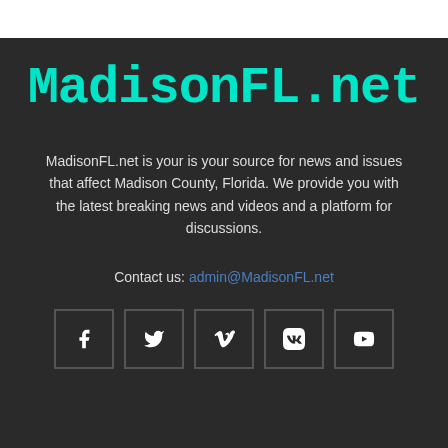MadisonFL.net
MadisonFL.net is your is your source for news and issues that affect Madison County, Florida. We provide you with the latest breaking news and videos and a platform for discussions.
Contact us: admin@MadisonFL.net
[Figure (infographic): Five social media icon buttons in a row: Facebook (f), Twitter (bird), Vimeo (v), VKontakte (vk), YouTube (play button)]